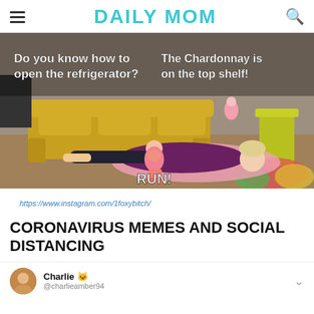DAILY MOM
[Figure (photo): A humorous meme showing a woman lying exhausted on the floor while a toddler climbs on her. Text overlays read: 'Do you know how to open the refrigerator?' and 'The Chardonnay is on the top shelf!' and 'RUN!']
https://www.instagram.com/1foxybitch/
CORONAVIRUS MEMES AND SOCIAL DISTANCING
Charlie 🐱 @charlieamber94